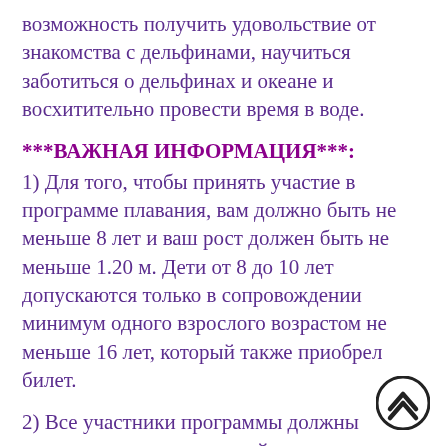возможность получить удовольствие от знакомства с дельфинами, научиться заботиться о дельфинах и океане и восхитительно провести время в воде.
***ВАЖНАЯ ИНФОРМАЦИЯ***:
1) Для того, чтобы принять участие в программе плавания, вам должно быть не меньше 8 лет и ваш рост должен быть не меньше 1.20 м. Дети от 8 до 10 лет допускаются только в сопровождении минимум одного взрослого возрастом не меньше 16 лет, который также приобрел билет.
2) Все участники программы должны использовать спасательный жилет.
3) Для того, чтобы участник программы смог принять участие во всех мероприятиях в воде, он должен комфортно себя чувствовать в глубокой